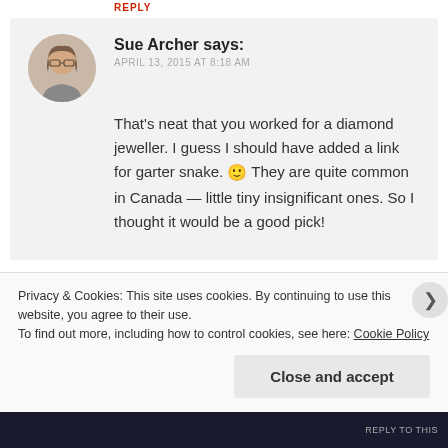REPLY
Sue Archer says:
APRIL 13, 2015 AT 8:18 AM
[Figure (photo): Circular avatar photo of Sue Archer, a woman with short brown hair and glasses]
That's neat that you worked for a diamond jeweller. I guess I should have added a link for garter snake. 🙂 They are quite common in Canada — little tiny insignificant ones. So I thought it would be a good pick!
★ Like
REPLY
Privacy & Cookies: This site uses cookies. By continuing to use this website, you agree to their use.
To find out more, including how to control cookies, see here: Cookie Policy
Close and accept